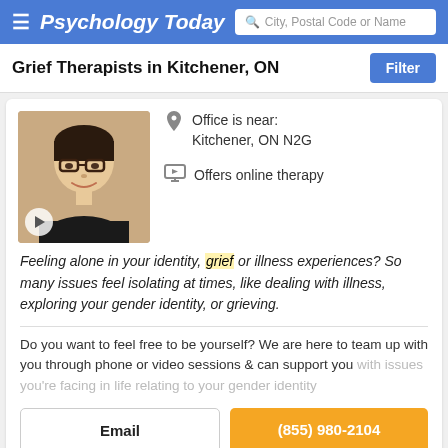Psychology Today | City, Postal Code or Name search
Grief Therapists in Kitchener, ON
Office is near: Kitchener, ON N2G
Offers online therapy
Feeling alone in your identity, grief or illness experiences? So many issues feel isolating at times, like dealing with illness, exploring your gender identity, or grieving.
Do you want to feel free to be yourself? We are here to team up with you through phone or video sessions & can support you with issues you're facing in life relating to your gender identity
Email
(855) 980-2104
Mind and Wellness